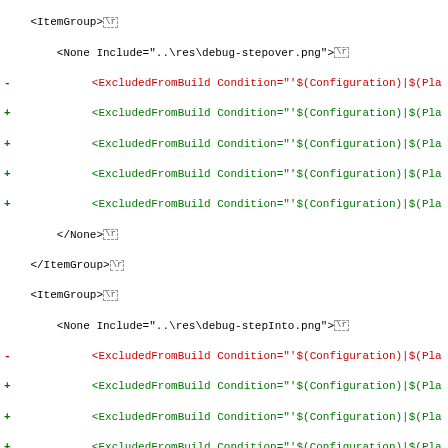[Figure (screenshot): Diff view of XML project file showing additions and deletions of ExcludedFromBuild conditions for various image and text resources. Lines prefixed with - are removed (red), lines prefixed with + are added (green). Resources include debug-stepover.png, debug-stepInto.png, tool-stack.png, vj_ReleaseNotes.txt (removed), and vj_HistoryNotes.txt (added).]